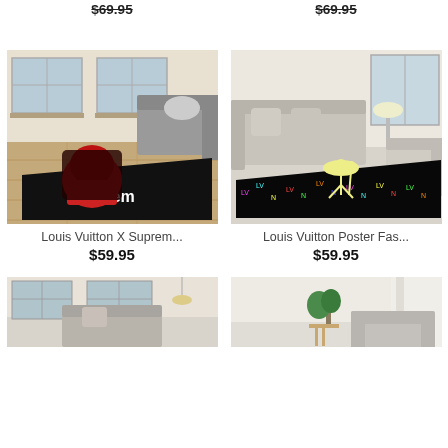$69.95
$69.95
[Figure (photo): Product listing photo: Louis Vuitton X Supreme rug shown in a living room with sofa, dark rug with Supreme branding and red backpack graphic]
Louis Vuitton X Suprem...
$59.95
[Figure (photo): Product listing photo: Louis Vuitton Poster Fashion rug shown in a living room, black rug with colorful LV monogram pattern and yellow silhouette couple with umbrella]
Louis Vuitton Poster Fas...
$59.95
[Figure (photo): Partial product photo bottom left: living room scene with sofa and rug, cropped]
[Figure (photo): Partial product photo bottom right: living room scene with armchair and side table, cropped]